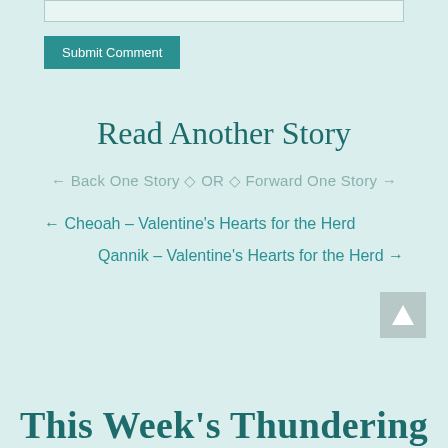[Figure (screenshot): Text input box at top of page]
Submit Comment
Read Another Story
← Back One Story ◇ OR ◇ Forward One Story →
← Cheoah – Valentine's Hearts for the Herd
Qannik – Valentine's Hearts for the Herd →
This Week's Thundering